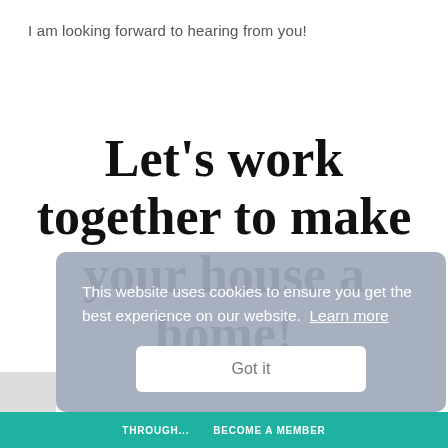I am looking forward to hearing from you!
Let's work together to make your house a home!
Pay... the... des...
This website uses cookies to ensure you get the best experience on our website. Learn more
Got it
THROUGH...
BECOME A MEMBER